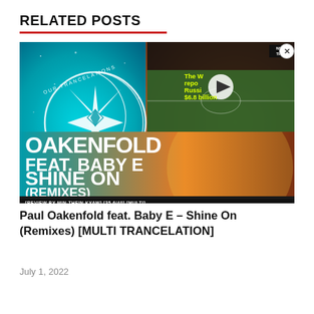RELATED POSTS
[Figure (photo): Album artwork for Paul Oakenfold feat. Baby E - Shine On (Remixes). Shows OUR TRANCELATIONS logo on teal/blue background with star emblem on left, and large white text: PAU OAKENFOLD FEAT. BABY E SHINE ON (REMIXES) [REVIEW BY MIN THEIN KYAW] [35.6/40] [MULTI] on gradient orange/warm background on right. Overlaid in top-right corner is a video player showing a football/soccer field with yellow text: The World Cup reportedly cost Russia $6.8 billion, with a play button.]
Paul Oakenfold feat. Baby E – Shine On (Remixes) [MULTI TRANCELATION]
July 1, 2022